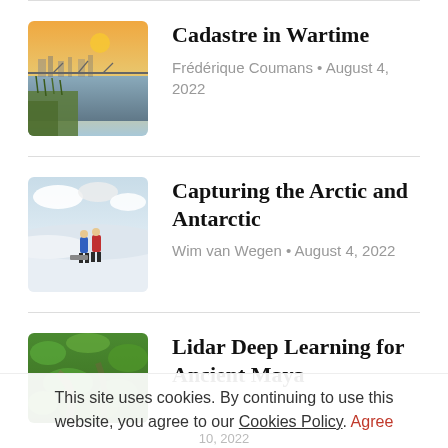[Figure (photo): Aerial/scenic photo of a river landscape at sunset with a bridge and green reeds in the foreground]
Cadastre in Wartime
Frédérique Coumans • August 4, 2022
[Figure (photo): Two people in colorful jackets standing on a snowy arctic/antarctic landscape with blue sky]
Capturing the Arctic and Antarctic
Wim van Wegen • August 4, 2022
[Figure (photo): Aerial view of green vegetation and terrain, related to Lidar deep learning for ancient Maya]
Lidar Deep Learning for Ancient Maya
This site uses cookies. By continuing to use this website, you agree to our Cookies Policy. Agree
10, 2022